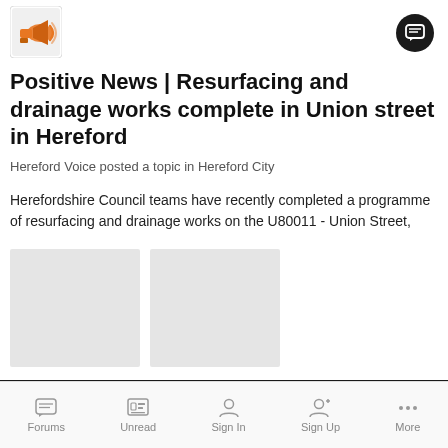[Figure (logo): Megaphone/announcement icon avatar in top left]
Positive News | Resurfacing and drainage works complete in Union street in Hereford
Hereford Voice posted a topic in Hereford City
Herefordshire Council teams have recently completed a programme of resurfacing and drainage works on the U80011 - Union Street,
[Figure (photo): Two placeholder/loading images side by side]
May 16, 2021   3 replies   1
hvroads   resufacing   (and 2 more)
Forums   Unread   Sign In   Sign Up   More